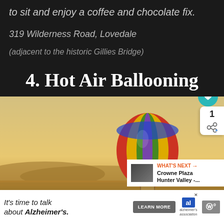to sit and enjoy a coffee and chocolate fix.
319 Wilderness Road, Lovedale
(adjacent to the historic Gillies Bridge)
4. Hot Air Ballooning
[Figure (photo): A colorful hot air balloon with red, yellow, green, purple, and blue stripes floating over a golden-hued valley landscape at sunrise/sunset. The sky is warm and hazy. Social sharing UI overlaid: heart button, share count of 1, share icon. A 'What's Next' callout shows Crowne Plaza Hunter Valley.]
It's time to talk about Alzheimer's. LEARN MORE